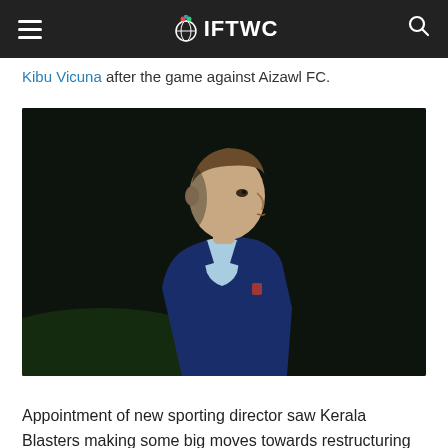IFTWC
Kibu Vicuna after the game against Aizawl FC.
[Figure (photo): A man in a blue blazer and light blue shirt seen in profile against a dark background, likely a football coach on the sidelines.]
Appointment of new sporting director saw Kerala Blasters making some big moves towards restructuring the squad